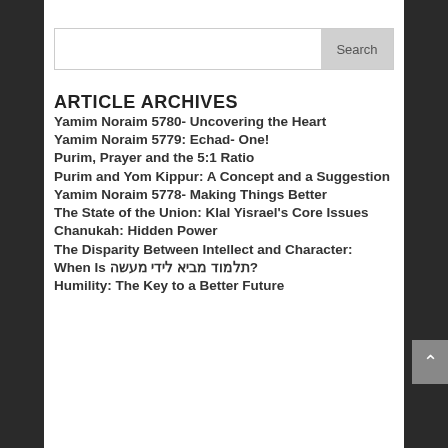ARTICLE ARCHIVES
Yamim Noraim 5780- Uncovering the Heart
Yamim Noraim 5779: Echad- One!
Purim, Prayer and the 5:1 Ratio
Purim and Yom Kippur: A Concept and a Suggestion
Yamim Noraim 5778- Making Things Better
The State of the Union: Klal Yisrael's Core Issues
Chanukah: Hidden Power
The Disparity Between Intellect and Character: When Is תלמוד מביא לידי מעשה?
Humility: The Key to a Better Future